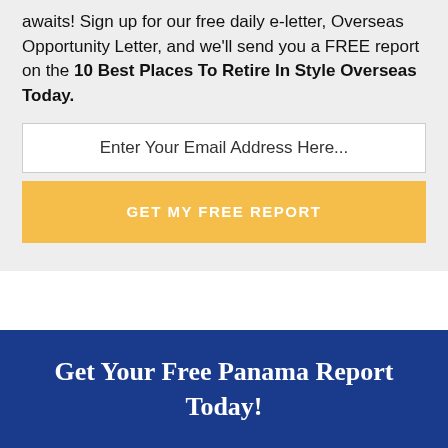awaits! Sign up for our free daily e-letter, Overseas Opportunity Letter, and we'll send you a FREE report on the 10 Best Places To Retire In Style Overseas Today.
[Figure (other): Email input field with placeholder text 'Enter Your Email Address Here...']
[Figure (other): Yellow call-to-action button with text 'GET MY FREE REPORT']
Get Your Free Panama Report Today!